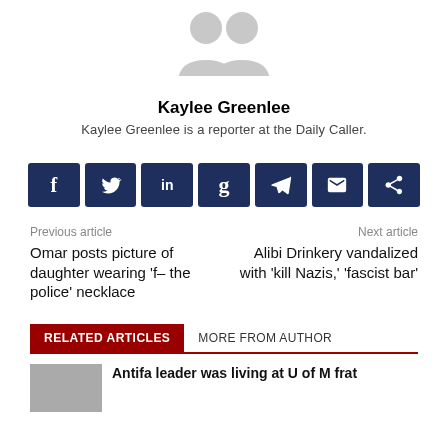[Figure (photo): Gray placeholder avatar/profile image with two silhouette figures]
Kaylee Greenlee
Kaylee Greenlee is a reporter at the Daily Caller.
[Figure (infographic): Social share buttons row: Facebook, Twitter, LinkedIn, Gettr, Telegram, Email, Share]
Previous article
Omar posts picture of daughter wearing ‘f– the police’ necklace
Next article
Alibi Drinkery vandalized with ‘kill Nazis,’ ‘fascist bar’
RELATED ARTICLES
MORE FROM AUTHOR
Antifa leader was living at U of M frat